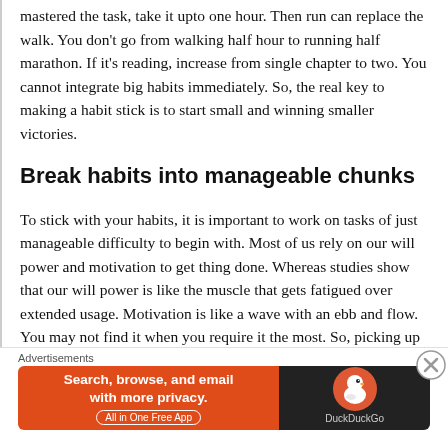mastered the task, take it upto one hour. Then run can replace the walk. You don't go from walking half hour to running half marathon. If it's reading, increase from single chapter to two. You cannot integrate big habits immediately. So, the real key to making a habit stick is to start small and winning smaller victories.
Break habits into manageable chunks
To stick with your habits, it is important to work on tasks of just manageable difficulty to begin with. Most of us rely on our will power and motivation to get thing done. Whereas studies show that our will power is like the muscle that gets fatigued over extended usage. Motivation is like a wave with an ebb and flow. You may not find it when you require it the most. So, picking up a habit that is easy enough can get you started even when you are low on your motivators.
Advertisements
[Figure (other): DuckDuckGo advertisement banner: orange left panel with text 'Search, browse, and email with more privacy. All in One Free App' and dark right panel with DuckDuckGo logo and brand name.]